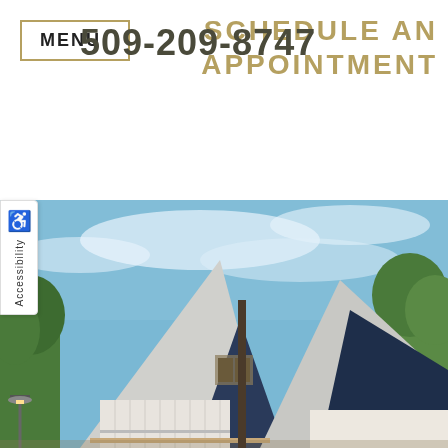MENU
509-209-8747
SCHEDULE AN APPOINTMENT
♿ Accessibility
[Figure (photo): Exterior photo of a modern A-frame style house with white/grey roofline against a blue sky with trees in the background]